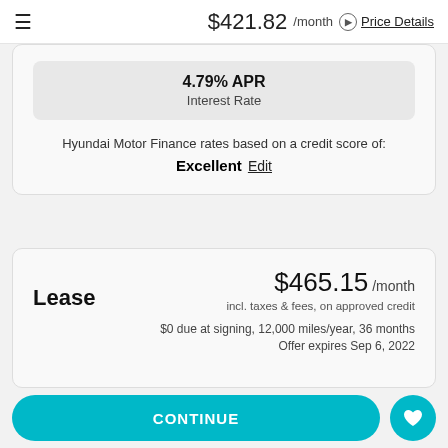$421.82 /month  Price Details
4.79% APR
Interest Rate
Hyundai Motor Finance rates based on a credit score of:
Excellent  Edit
Lease  $465.15 /month
incl. taxes & fees, on approved credit
$0 due at signing, 12,000 miles/year, 36 months
Offer expires Sep 6, 2022
Pay Cash  $26,688
CONTINUE